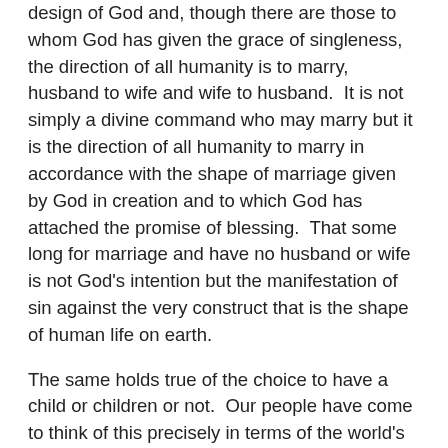design of God and, though there are those to whom God has given the grace of singleness, the direction of all humanity is to marry, husband to wife and wife to husband.  It is not simply a divine command who may marry but it is the direction of all humanity to marry in accordance with the shape of marriage given by God in creation and to which God has attached the promise of blessing.  That some long for marriage and have no husband or wife is not God's intention but the manifestation of sin against the very construct that is the shape of human life on earth.
The same holds true of the choice to have a child or children or not.  Our people have come to think of this precisely in terms of the world's idea of personal preference and independent decision.  Can this be reconciled with the command to be fruitful and multiply and fill the earth?  Do we have a choice here or are children the fruit of the love that is planted by God's design in the woman made for man and the name who desires the woman as the flesh of his flesh and bone of his bone?  Birth control has become merely a stewardship issue for some Lutherans as if choosing not to have children is as legitimate a choice as having them.  How can we justify this except by ceding to the secular realm of